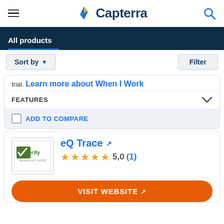Capterra
All products
Sort by ▾
Filter
trial. Learn more about When I Work
FEATURES
ADD TO COMPARE
eQ Trace
★★★★★ 5,0 (1)
VISIT WEBSITE